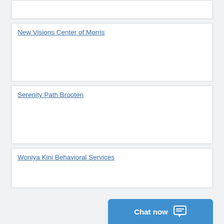New Visions Center of Morris
Serenity Path Brooten
Woniya Kini Behavioral Services
Serenity Path Inc
Meeker Memorial Hospital